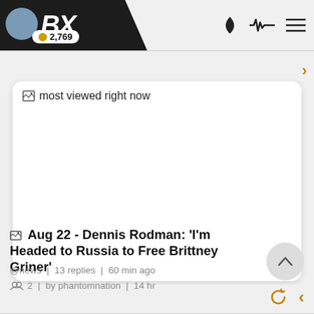BX 2,769
[Figure (screenshot): most viewed right now image card with broken image icon]
Aug 22 - Dennis Rodman: 'I'm Headed to Russia to Free Brittney Griner'
@news | 13 replies | 60 min ago
2 | by phantomnation | 14 hr